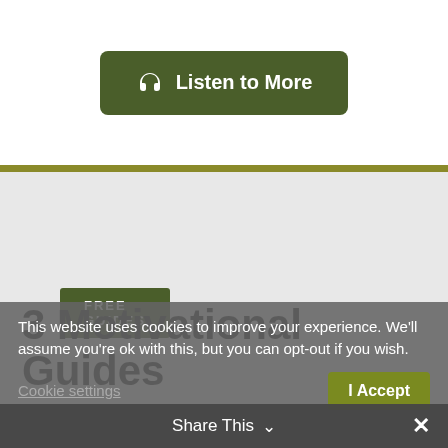[Figure (other): Green rounded button with headphone icon and text 'Listen to More']
[Figure (other): Green badge label reading 'FREE GUIDES']
3 Motivational Guides
This website uses cookies to improve your experience. We'll assume you're ok with this, but you can opt-out if you wish.
Cookie settings   I Accept
Share This